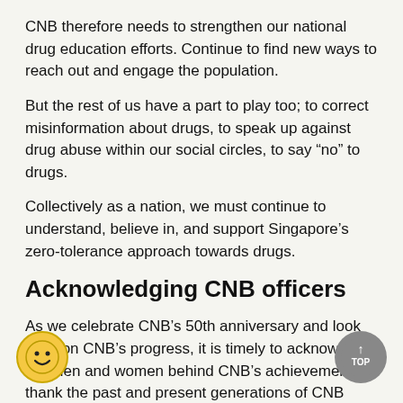CNB therefore needs to strengthen our national drug education efforts. Continue to find new ways to reach out and engage the population.
But the rest of us have a part to play too; to correct misinformation about drugs, to speak up against drug abuse within our social circles, to say “no” to drugs.
Collectively as a nation, we must continue to understand, believe in, and support Singapore’s zero-tolerance approach towards drugs.
Acknowledging CNB officers
As we celebrate CNB’s 50th anniversary and look back on CNB’s progress, it is timely to acknowledge the men and women behind CNB’s achievements. I thank the past and present generations of CNB officers, including the previous Directors who have joined us today, quite a number of them— Sim Poh Heng, Tee Tua Ba, Eric Tan, and several